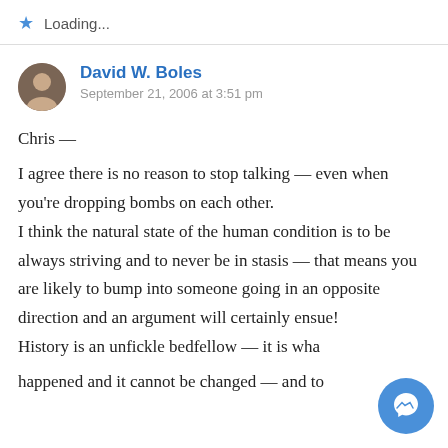Loading...
David W. Boles
September 21, 2006 at 3:51 pm
Chris —

I agree there is no reason to stop talking — even when you're dropping bombs on each other.
I think the natural state of the human condition is to be always striving and to never be in stasis — that means you are likely to bump into someone going in an opposite direction and an argument will certainly ensue!
History is an unfickle bedfellow — it is what happened and it cannot be changed — and to